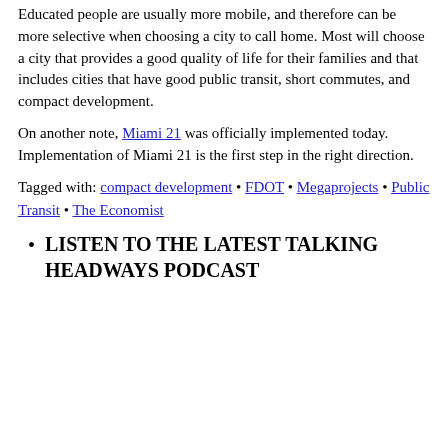Educated people are usually more mobile, and therefore can be more selective when choosing a city to call home. Most will choose a city that provides a good quality of life for their families and that includes cities that have good public transit, short commutes, and compact development.
On another note, Miami 21 was officially implemented today. Implementation of Miami 21 is the first step in the right direction.
Tagged with: compact development • FDOT • Megaprojects • Public Transit • The Economist
LISTEN TO THE LATEST TALKING HEADWAYS PODCAST